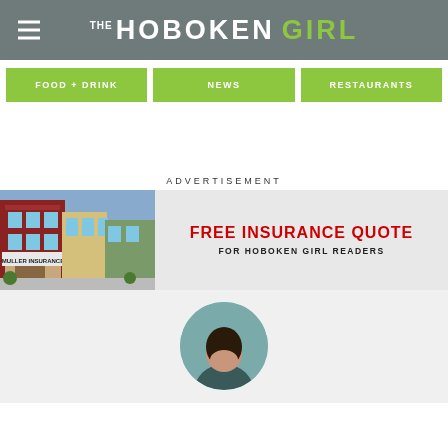THE HOBOKEN GIRL
FOOD + DRINK
NEWS
RESTAURANTS
ADVERTISEMENT
[Figure (photo): Advertisement banner for Muller Insurance showing the storefront of Muller Insurance on the left and text FREE INSURANCE QUOTE FOR HOBOKEN GIRL READERS on the right]
[Figure (photo): Circular cropped photo of a woman, partially visible at the bottom of the page]